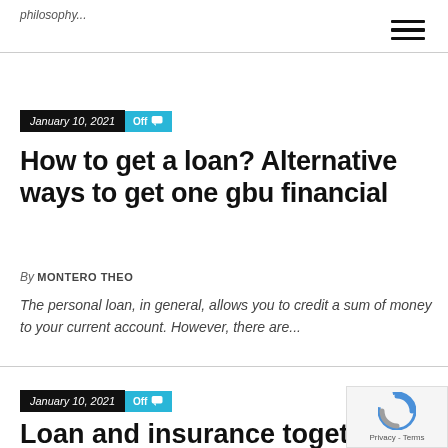philosophy...
January 10, 2021  Off
How to get a loan? Alternative ways to get one gbu financial
By MONTERO THEO
The personal loan, in general, allows you to credit a sum of money to your current account. However, there are...
January 10, 2021  Off
Loan and insurance together Interest